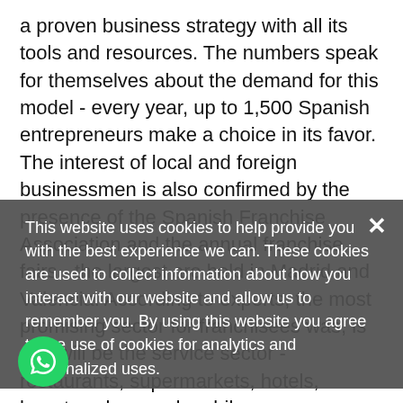a proven business strategy with all its tools and resources. The numbers speak for themselves about the demand for this model - every year, up to 1,500 Spanish entrepreneurs make a choice in its favor. The interest of local and foreign businessmen is also confirmed by the presence of the Spanish Franchise Association and the annual franchise fairs - the largest are held in Madrid and Valencia. According to experts, the most promising sector for franchisees was, is and will be the service sector - restaurants, supermarkets, hotels, beauty salons and mobile communications, travel and real estate
agencies. Rusol Prime provides consulting services to clients interested in ... provide you with detailed information on the financial and legal aspects of the issue and will provide practical assistance in finding ... the decision prepared by our experts will be your individual opportunities and wishes, as well as the economic prospects of the region in relation to your chosen industry.
This website uses cookies to help provide you with the best experience we can. These cookies are used to collect information about how you interact with our website and allow us to remember you. By using this website you agree to the use of cookies for analytics and personalized uses.